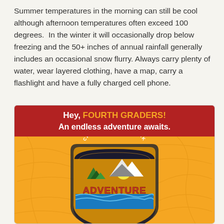Summer temperatures in the morning can still be cool although afternoon temperatures often exceed 100 degrees. In the winter it will occasionally drop below freezing and the 50+ inches of annual rainfall generally includes an occasional snow flurry. Always carry plenty of water, wear layered clothing, have a map, carry a flashlight and have a fully charged cell phone.
[Figure (illustration): California State Park Adventure promotional banner/logo for fourth graders. Red banner header reads 'Hey, FOURTH GRADERS! An endless adventure awaits.' Below is an orange background with topographic lines and a circular badge/logo reading 'CALIFORNIA STATE PARK ADVENTURE' with illustrated trees, mountains, sun, and water.]